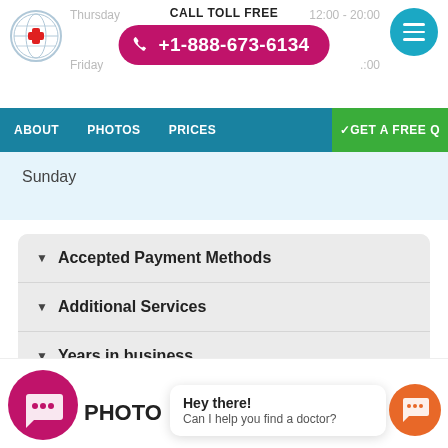[Figure (screenshot): Medical website header with logo, CALL TOLL FREE label, pink phone pill button showing +1-888-673-6134, and teal hamburger menu circle button. Background shows faded Thursday and Friday day labels.]
CALL TOLL FREE +1-888-673-6134
ABOUT   PHOTOS   PRICES   ✓GET A FREE Q
Sunday
Accepted Payment Methods
Additional Services
Years in business
PHOTO
Hey there!
Can I help you find a doctor?